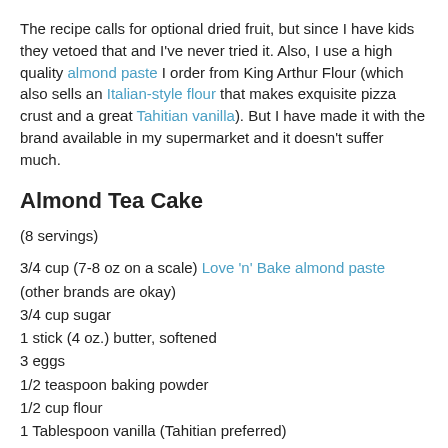The recipe calls for optional dried fruit, but since I have kids they vetoed that and I've never tried it. Also, I use a high quality almond paste I order from King Arthur Flour (which also sells an Italian-style flour that makes exquisite pizza crust and a great Tahitian vanilla). But I have made it with the brand available in my supermarket and it doesn't suffer much.
Almond Tea Cake
(8 servings)
3/4 cup (7-8 oz on a scale) Love 'n' Bake almond paste (other brands are okay)
3/4 cup sugar
1 stick (4 oz.) butter, softened
3 eggs
1/2 teaspoon baking powder
1/2 cup flour
1 Tablespoon vanilla (Tahitian preferred)
1/4 cup dried cherries or dried apricots, optional